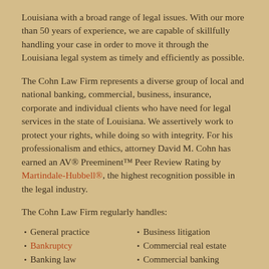Louisiana with a broad range of legal issues. With our more than 50 years of experience, we are capable of skillfully handling your case in order to move it through the Louisiana legal system as timely and efficiently as possible.
The Cohn Law Firm represents a diverse group of local and national banking, commercial, business, insurance, corporate and individual clients who have need for legal services in the state of Louisiana. We assertively work to protect your rights, while doing so with integrity. For his professionalism and ethics, attorney David M. Cohn has earned an AV® Preeminent™ Peer Review Rating by Martindale-Hubbell®, the highest recognition possible in the legal industry.
The Cohn Law Firm regularly handles:
General practice
Bankruptcy
Banking law
Finance
Business litigation
Commercial real estate
Commercial banking
Creditor's rights